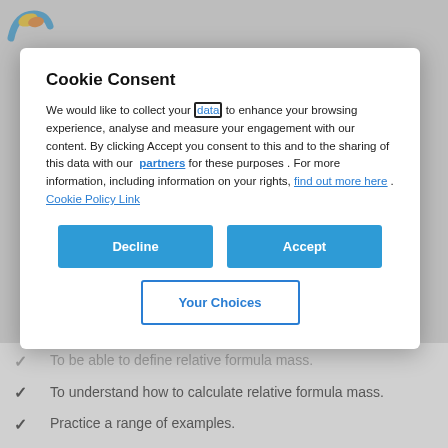[Figure (logo): Colorful arc/wave logo in blue, yellow, orange at top left]
Cookie Consent
We would like to collect your data to enhance your browsing experience, analyse and measure your engagement with our content. By clicking Accept you consent to this and to the sharing of this data with our partners for these purposes . For more information, including information on your rights, find out more here . Cookie Policy Link
To be able to define relative formula mass.
To understand how to calculate relative formula mass.
Practice a range of examples.